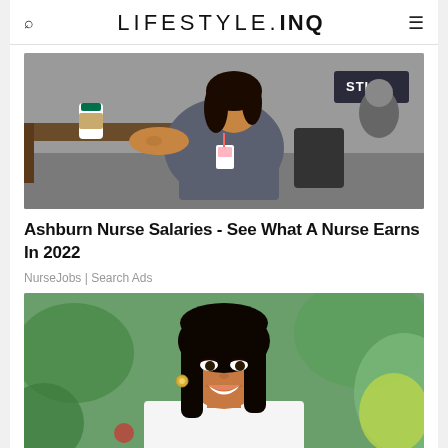LIFESTYLE.INQ
[Figure (photo): A nurse in gray scrubs sitting at a desk holding a Starbucks cup, with 'STICU' signage visible in the background]
Ashburn Nurse Salaries - See What A Nurse Earns In 2022
NurseJobs | Search Ads
[Figure (photo): Smiling young woman with dark hair in a white jacket, photographed outdoors with green foliage background]